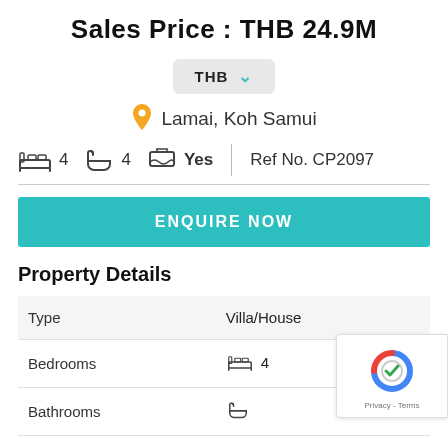Sales Price : THB 24.9M
THB (currency selector)
Lamai, Koh Samui
4 bedrooms  4 bathrooms  Pool: Yes  |  Ref No. CP2097
ENQUIRE NOW
Property Details
|  |  |
| --- | --- |
| Type | Villa/House |
| Bedrooms | 4 |
| Bathrooms |  |